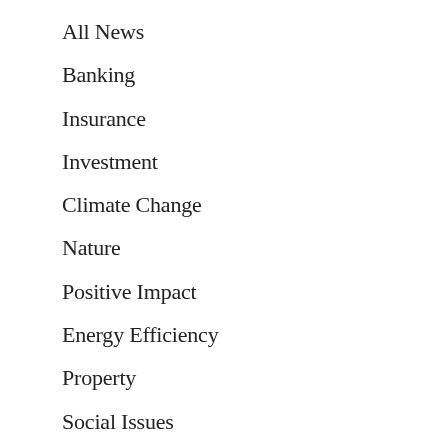All News
Banking
Insurance
Investment
Climate Change
Nature
Positive Impact
Energy Efficiency
Property
Social Issues
Africa & Middle East
Asia Pacific
Europe
Latin America & Caribbean